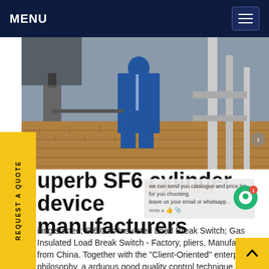MENU
[Figure (photo): Worker in blue overalls standing on brick pavement near industrial gas cylinder equipment and pipes]
we can send you catalogue and price list for you choosing. leave us your email or whatsapp . Write a ...
SF6China
uperb SF6 cylinder device manufacturers
iting started; Sf6 Gas Insulated Load Break Switch; Gas Insulated Load Break Switch - Factory, pliers, Manufacturers from China. Together with the "Client-Oriented" enterprise philosophy, a arduous good quality control technique, sophisticated producing equipment and a sturdy staff, we generally offer superior quality
REQUEST A QUOTE